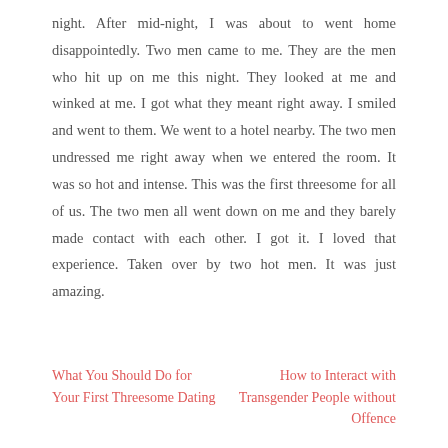night. After mid-night, I was about to went home disappointedly. Two men came to me. They are the men who hit up on me this night. They looked at me and winked at me. I got what they meant right away. I smiled and went to them. We went to a hotel nearby. The two men undressed me right away when we entered the room. It was so hot and intense. This was the first threesome for all of us. The two men all went down on me and they barely made contact with each other. I got it. I loved that experience. Taken over by two hot men. It was just amazing.
What You Should Do for Your First Threesome Dating
How to Interact with Transgender People without Offence